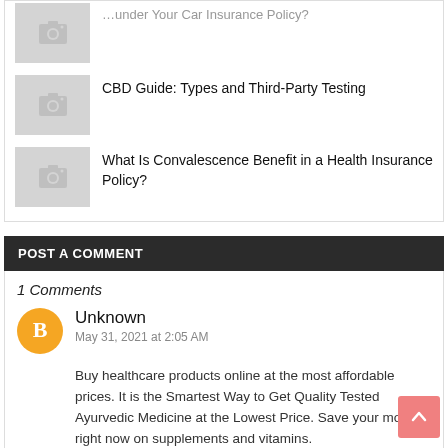[Figure (photo): Thumbnail placeholder image with camera icon (partially visible, cropped at top)]
CBD Guide: Types and Third-Party Testing
What Is Convalescence Benefit in a Health Insurance Policy?
POST A COMMENT
1 Comments
[Figure (illustration): Orange circular avatar with Blogger 'B' logo]
Unknown
May 31, 2021 at 2:05 AM
Buy healthcare products online at the most affordable prices. It is the Smartest Way to Get Quality Tested Ayurvedic Medicine at the Lowest Price. Save your money right now on supplements and vitamins.